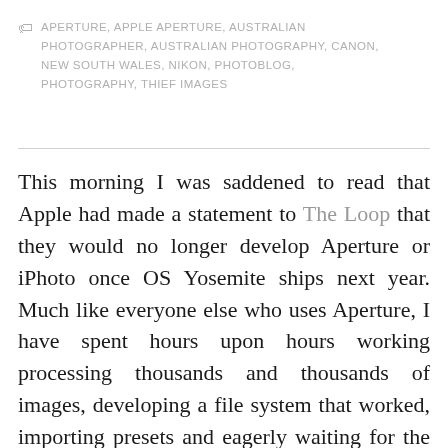APERTURE, APPLE APERTURE, AUSTRALIAN PHOTOGRAPHER, AUSTRALIAN PHOTOGRAPHY, CANON, NEW SOUTH WALES, NIKON, PHOTOBLOG, PHOTOGRAPHY, THIEF IMAGES
This morning I was saddened to read that Apple had made a statement to The Loop that they would no longer develop Aperture or iPhoto once OS Yosemite ships next year. Much like everyone else who uses Aperture, I have spent hours upon hours working processing thousands and thousands of images, developing a file system that worked, importing presets and eagerly waiting for the next update or big thing involving Aperture. Apple hasn't done any real updates to Aperture since Nov 2013 and I have had that sinking feeling that something was wrong. No updates/news means no good news….right.